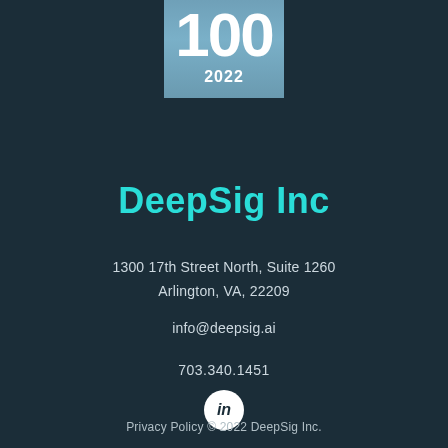[Figure (logo): Blue/teal square badge with '100' in large white bold text and '2022' below it]
DeepSig Inc
1300 17th Street North, Suite 1260
Arlington, VA, 22209
info@deepsig.ai
703.340.1451
[Figure (logo): LinkedIn icon: white circle with 'in' in dark text]
Privacy Policy © 2022 DeepSig Inc.